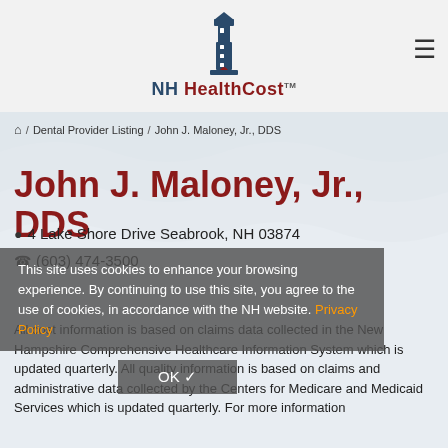NH HealthCost
🏠 / Dental Provider Listing / John J. Maloney, Jr., DDS
John J. Maloney, Jr., DDS
4 Lake Shore Drive Seabrook, NH 03874
(603) 474-3500
This site uses cookies to enhance your browsing experience. By continuing to use this site, you agree to the use of cookies, in accordance with the NH website. Privacy Policy
OK ✓
All cost information is based on claims data collected in the New Hampshire Comprehensive Healthcare Information System which is updated quarterly. All quality information is based on claims and administrative data collected by the Centers for Medicare and Medicaid Services which is updated quarterly. For more information